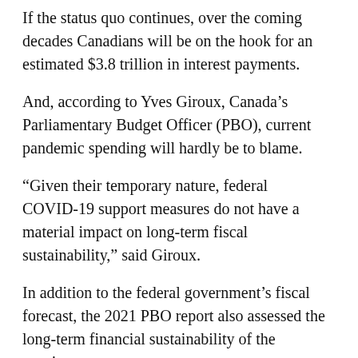If the status quo continues, over the coming decades Canadians will be on the hook for an estimated $3.8 trillion in interest payments.
And, according to Yves Giroux, Canada's Parliamentary Budget Officer (PBO), current pandemic spending will hardly be to blame.
“Given their temporary nature, federal COVID-19 support measures do not have a material impact on long-term fiscal sustainability,” said Giroux.
In addition to the federal government’s fiscal forecast, the 2021 PBO report also assessed the long-term financial sustainability of the provinces.
Per the office’s forecast, only Ontario, Quebec, and Nova Scotia are practicing financial policy that is sustainable in the long-term.